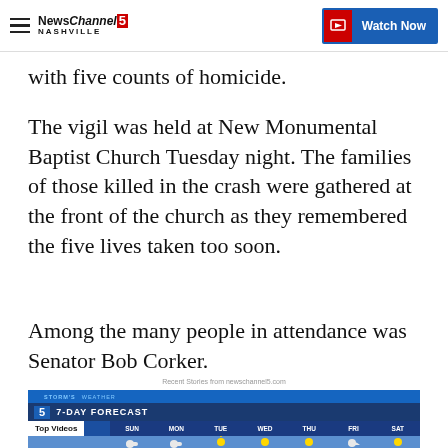NewsChannel 5 Nashville | Watch Now
with five counts of homicide.
The vigil was held at New Monumental Baptist Church Tuesday night. The families of those killed in the crash were gathered at the front of the church as they remembered the five lives taken too soon.
Among the many people in attendance was Senator Bob Corker.
Recent Stories from newschannel5.com
[Figure (screenshot): Video thumbnail showing 7-Day Forecast weather widget with Top Videos label and days SUN MON TUE WED THU FRI SAT]